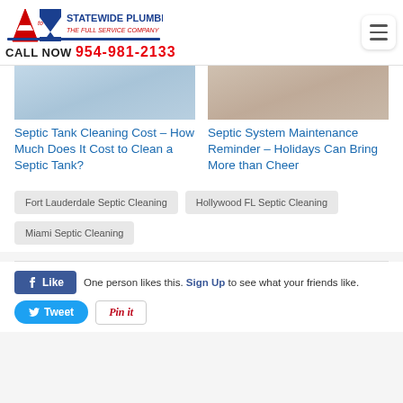A to Z Statewide Plumbing — The Full Service Company — CALL NOW 954-981-2133
[Figure (photo): Partial view of a septic tank or plumbing interior — blue/grey tones]
Septic Tank Cleaning Cost – How Much Does It Cost to Clean a Septic Tank?
[Figure (photo): Person appearing stressed or covering face — holiday stress concept]
Septic System Maintenance Reminder – Holidays Can Bring More than Cheer
Fort Lauderdale Septic Cleaning
Hollywood FL Septic Cleaning
Miami Septic Cleaning
One person likes this. Sign Up to see what your friends like.
Like | Tweet | Pin it